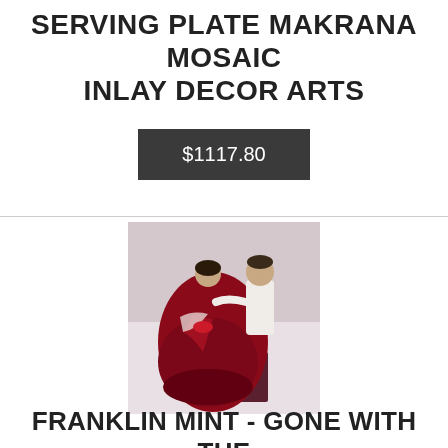SERVING PLATE MAKRANA MOSAIC INLAY DECOR ARTS
$1117.80
[Figure (photo): Photo of a Franklin Mint Gone With The Wind figurine showing two characters in period costume, one in a dark red/burgundy dress]
FRANKLIN MINT - GONE WITH THE